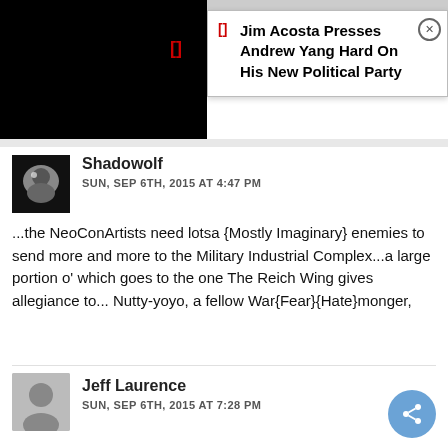[Figure (screenshot): Black video player area with red bracket icon]
Jim Acosta Presses Andrew Yang Hard On His New Political Party
Shadowolf
SUN, SEP 6TH, 2015 AT 4:47 PM
...the NeoConArtists need lotsa {Mostly Imaginary} enemies to send more and more to the Military Industrial Complex...a large portion o' which goes to the one The Reich Wing gives allegiance to... Nutty-yoyo, a fellow War{Fear}{Hate}monger,
Jeff Laurence
SUN, SEP 6TH, 2015 AT 7:28 PM